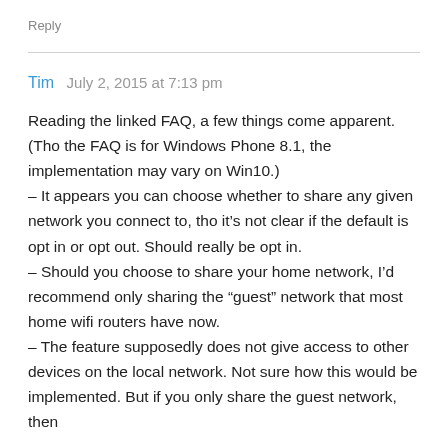Reply
Tim   July 2, 2015 at 7:13 pm
Reading the linked FAQ, a few things come apparent. (Tho the FAQ is for Windows Phone 8.1, the implementation may vary on Win10.)
– It appears you can choose whether to share any given network you connect to, tho it's not clear if the default is opt in or opt out. Should really be opt in.
– Should you choose to share your home network, I'd recommend only sharing the “guest” network that most home wifi routers have now.
– The feature supposedly does not give access to other devices on the local network. Not sure how this would be implemented. But if you only share the guest network, then this won’t be an issue.